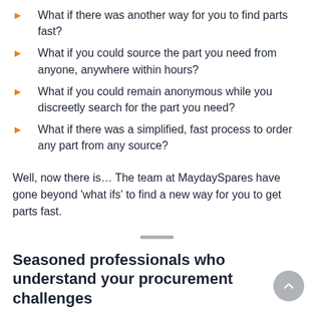What if there was another way for you to find parts fast?
What if you could source the part you need from anyone, anywhere within hours?
What if you could remain anonymous while you discreetly search for the part you need?
What if there was a simplified, fast process to order any part from any source?
Well, now there is… The team at MaydaySpares have gone beyond 'what ifs' to find a new way for you to get parts fast.
Seasoned professionals who understand your procurement challenges
The team at MaydaySpares has 40+ years' combined